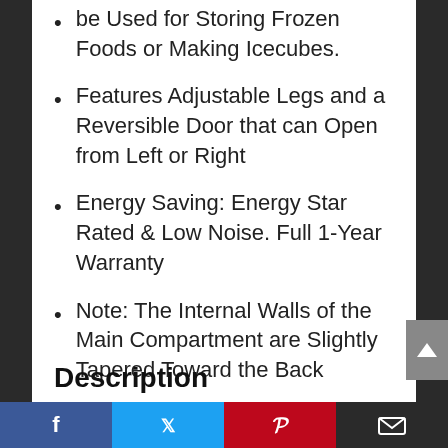be Used for Storing Frozen Foods or Making Icecubes.
Features Adjustable Legs and a Reversible Door that can Open from Left or Right
Energy Saving: Energy Star Rated & Low Noise. Full 1-Year Warranty
Note: The Internal Walls of the Main Compartment are Slightly Tapered Toward the Back
Description